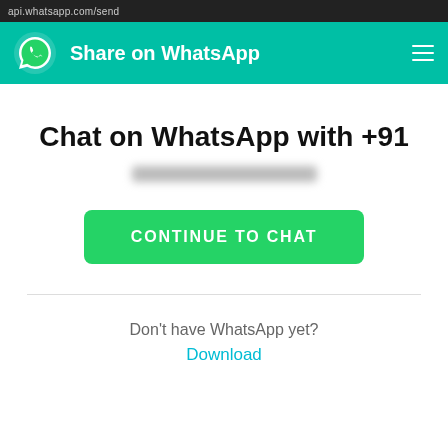api.whatsapp.com/send
[Figure (screenshot): WhatsApp web page header with teal background, WhatsApp logo, 'Share on WhatsApp' title, and hamburger menu icon]
Chat on WhatsApp with +91
[blurred phone number]
CONTINUE TO CHAT
Don't have WhatsApp yet?
Download